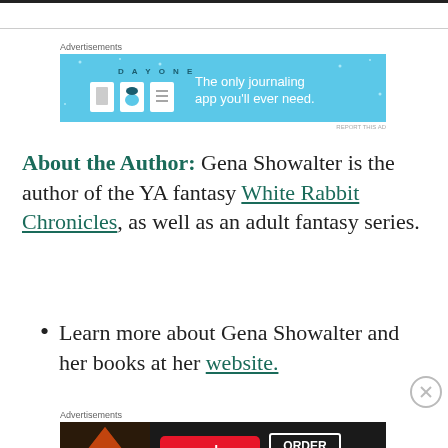[Figure (other): Day One journaling app advertisement banner with blue background, app icons, and text: 'The only journaling app you'll ever need.']
About the Author: Gena Showalter is the author of the YA fantasy White Rabbit Chronicles, as well as an adult fantasy series.
Learn more about Gena Showalter and her books at her website.
[Figure (other): Seamless food delivery advertisement with pizza image, Seamless logo, and ORDER NOW button on dark background.]